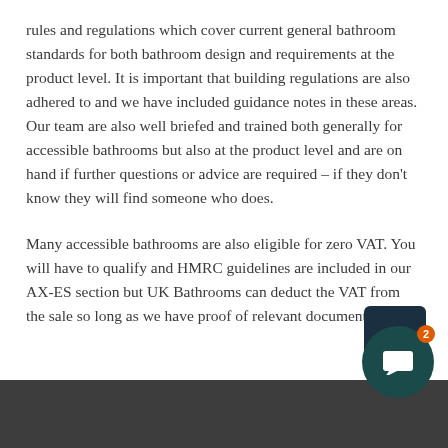rules and regulations which cover current general bathroom standards for both bathroom design and requirements at the product level. It is important that building regulations are also adhered to and we have included guidance notes in these areas. Our team are also well briefed and trained both generally for accessible bathrooms but also at the product level and are on hand if further questions or advice are required – if they don't know they will find someone who does.
Many accessible bathrooms are also eligible for zero VAT. You will have to qualify and HMRC guidelines are included in our AX-ES section but UK Bathrooms can deduct the VAT from the sale so long as we have proof of relevant documentation.
[Figure (other): Scroll-to-top button (dark teal square with upward arrow) and a chat button (dark teal circle with white chat icon and orange badge showing 2) overlaid on a dark footer bar.]